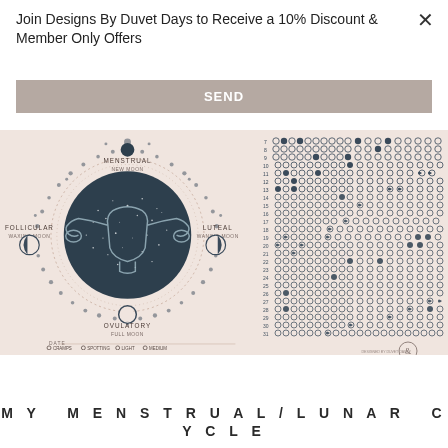Join Designs By Duvet Days to Receive a 10% Discount & Member Only Offers
SEND
[Figure (illustration): My Menstrual/Lunar Cycle tracker showing a circular diagram with moon phases (Menstrual/New Moon at top, Follicular/Waxing Moon on left, Luteal/Waning Moon on right, Ovulatory/Full Moon at bottom) around a central dark circle with uterus illustration, surrounded by dotted pattern. Right side has a numbered tracking grid (rows 7-31) with moon phase symbol columns. Bottom shows a legend with flow types and moon phase symbols.]
MY MENSTRUAL/LUNAR CYCLE